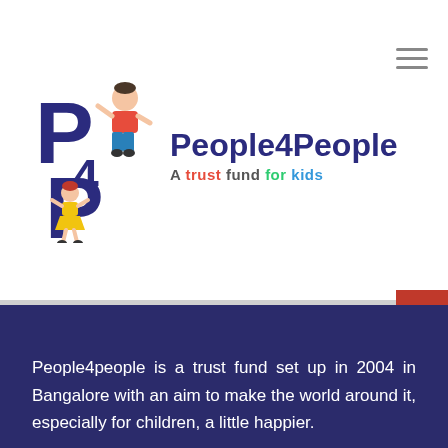[Figure (logo): People4People logo with illustrated children and 'A trust fund for kids' tagline]
People4people is a trust fund set up in 2004 in Bangalore with an aim to make the world around it, especially for children, a little happier.